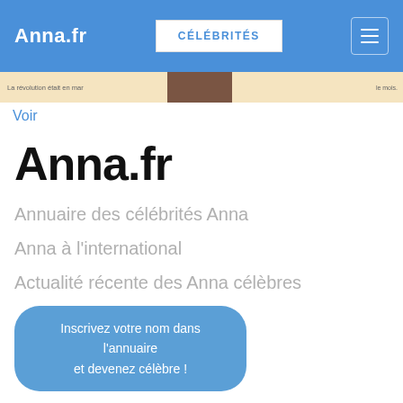Anna.fr | CÉLÉBRITÉS
[Figure (screenshot): Partial image strip showing a beige/tan background with a small dark historical image in the center, and partial text on left and right sides]
Voir
Anna.fr
Annuaire des célébrités Anna
Anna à l'international
Actualité récente des Anna célèbres
Inscrivez votre nom dans l'annuaire et devenez célèbre !